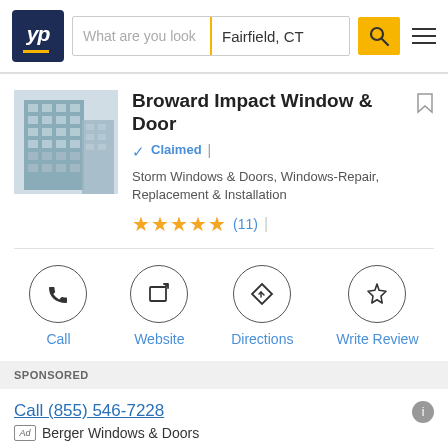[Figure (screenshot): YellowPages search interface header with logo, search bar for 'What are you look' and location 'Fairfield, CT', search button, and hamburger menu]
[Figure (photo): Photo of a glass-facade high-rise building for Broward Impact Window & Door]
Broward Impact Window & Door
Claimed | Storm Windows & Doors, Windows-Repair, Replacement & Installation
★★★★★ (11) |
Call | Website | Directions | Write Review
SPONSORED
Call (855) 546-7228
Ad Berger Windows & Doors
South Florida's most trusted name when dealing with